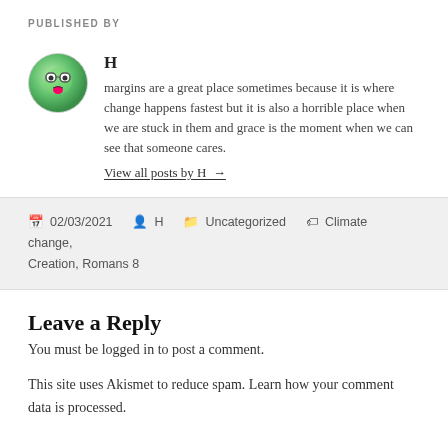PUBLISHED BY
[Figure (illustration): Round avatar with a cartoon frog/emoji face on green background]
H
margins are a great place sometimes because it is where change happens fastest but it is also a horrible place when we are stuck in them and grace is the moment when we can see that someone cares.
View all posts by H →
02/03/2021   H   Uncategorized   Climate change, Creation, Romans 8
Leave a Reply
You must be logged in to post a comment.
This site uses Akismet to reduce spam. Learn how your comment data is processed.